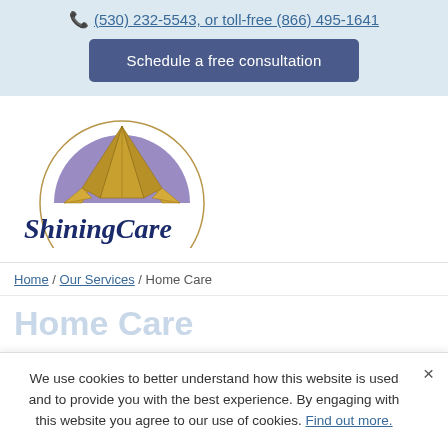(530) 232-5543, or toll-free (866) 495-1641
Schedule a free consultation
[Figure (logo): ShiningCare company logo: a compass/star with golden triangular points over a purple arched background, with the text 'ShiningCare' in navy blue below]
Home / Our Services / Home Care
We use cookies to better understand how this website is used and to provide you with the best experience. By engaging with this website you agree to our use of cookies. Find out more.
Home Care